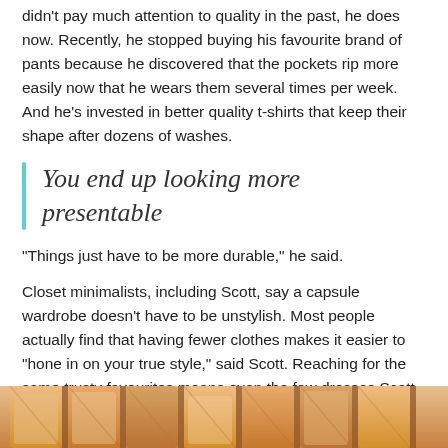didn't pay much attention to quality in the past, he does now. Recently, he stopped buying his favourite brand of pants because he discovered that the pockets rip more easily now that he wears them several times per week. And he's invested in better quality t-shirts that keep their shape after dozens of washes.
You end up looking more presentable
“Things just have to be more durable,” he said.
Closet minimalists, including Scott, say a capsule wardrobe doesn’t have to be unstylish. Most people actually find that having fewer clothes makes it easier to “hone in on your true style,” said Scott. Reaching for the same trusty favourites means even the few dresses Scott owns have impeccable fit.
[Figure (photo): Close-up photo of clothes hangers, warm orange/wood tones, partially visible at the bottom of the page.]